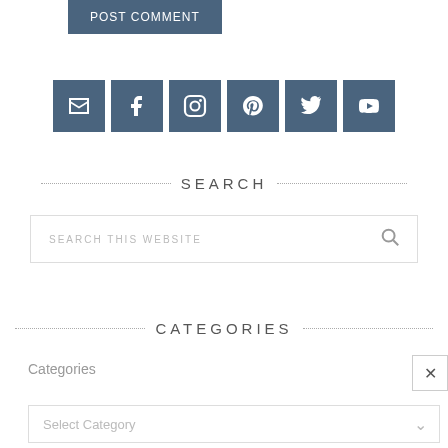Post Comment
[Figure (other): Row of 6 social media icon buttons (email, Facebook, Instagram, Pinterest, Twitter, YouTube) in steel blue square backgrounds]
SEARCH
SEARCH THIS WEBSITE
CATEGORIES
Categories
Select Category